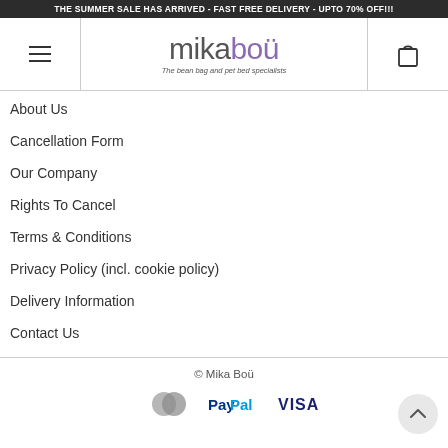THE SUMMER SALE HAS ARRIVED - FAST FREE DELIVERY - UPTO 70% OFF!!!
[Figure (logo): Mikabou logo with hamburger menu icon on left and shopping bag icon on right. Logo shows 'mikaboü' with 'mika' in grey and 'boü' in purple, subtitle reads 'The bean bag and pet bed specialists']
About Us
Cancellation Form
Our Company
Rights To Cancel
Terms & Conditions
Privacy Policy (incl. cookie policy)
Delivery Information
Contact Us
© Mika Boü
[Figure (logo): Payment icons: Mastercard, PayPal, and VISA logos]